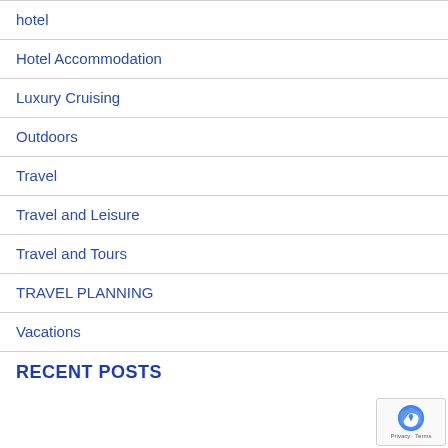hotel
Hotel Accommodation
Luxury Cruising
Outdoors
Travel
Travel and Leisure
Travel and Tours
TRAVEL PLANNING
Vacations
RECENT POSTS